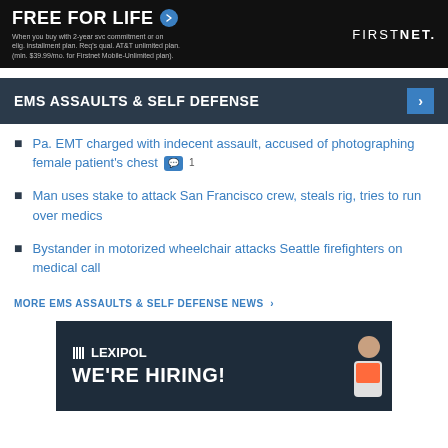[Figure (other): AT&T FirstNet advertisement banner with black background, text FREE FOR LIFE, small print about 2-year service commitment, and FIRSTNET logo on the right]
EMS ASSAULTS & SELF DEFENSE
Pa. EMT charged with indecent assault, accused of photographing female patient's chest 1
Man uses stake to attack San Francisco crew, steals rig, tries to run over medics
Bystander in motorized wheelchair attacks Seattle firefighters on medical call
MORE EMS ASSAULTS & SELF DEFENSE NEWS >
[Figure (other): Lexipol advertisement with dark background showing WE'RE HIRING! text and illustrated figure of a person]